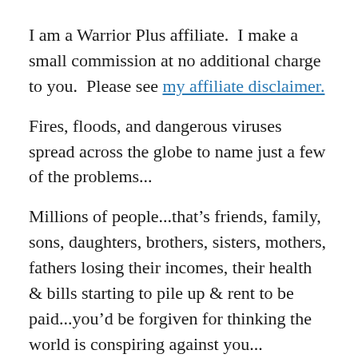I am a Warrior Plus affiliate.  I make a small commission at no additional charge to you.  Please see my affiliate disclaimer.
Fires, floods, and dangerous viruses spread across the globe to name just a few of the problems...
Millions of people...that’s friends, family, sons, daughters, brothers, sisters, mothers, fathers losing their incomes, their health & bills starting to pile up & rent to be paid...you’d be forgiven for thinking the world is conspiring against you...
SO, THERE IS A  SOLUTION   RIGHT?